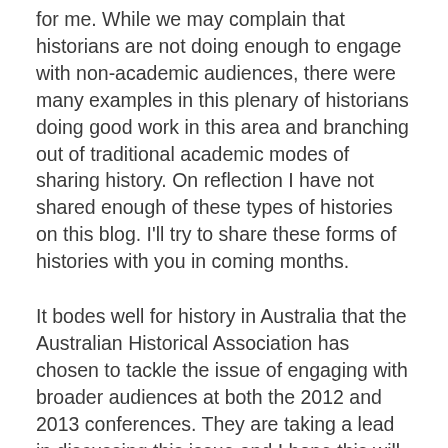for me.  While we may complain that historians are not doing enough to engage with non-academic audiences, there were many examples in this plenary of historians doing good work in this area and branching out of traditional academic modes of sharing history.  On reflection I have not shared enough of these types of histories on this blog.  I'll try to share these forms of histories with you in coming months.
It bodes well for history in Australia that the Australian Historical Association has chosen to tackle the issue of engaging with broader audiences at both the 2012 and 2013 conferences.  They are taking a lead in discussing this issue and I hope this will continue at the 2014 conference.
There are many Australian historians interested in the engaging with wider audiences.  The Macquarie